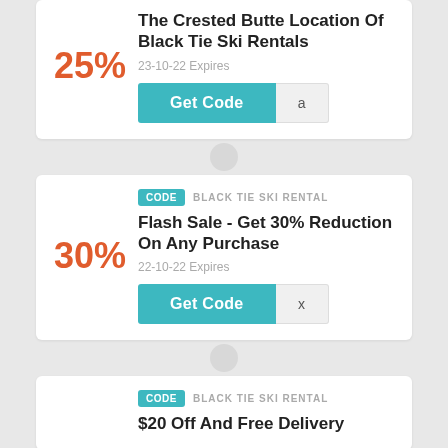The Crested Butte Location Of Black Tie Ski Rentals
25%
23-10-22 Expires
Get Code  a
CODE  BLACK TIE SKI RENTAL
Flash Sale - Get 30% Reduction On Any Purchase
30%
22-10-22 Expires
Get Code  x
CODE  BLACK TIE SKI RENTAL
$20 Off And Free Delivery